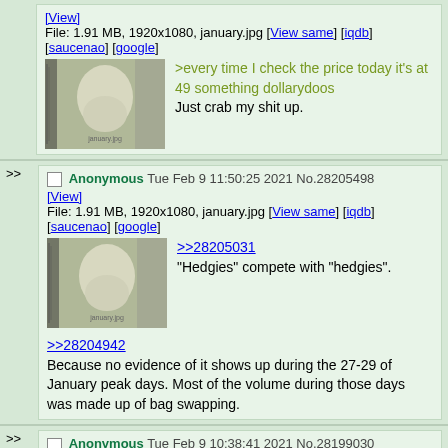[View]
File: 1.91 MB, 1920x1080, january.jpg [View same] [iqdb] [saucenao] [google]
>every time I check the price today it's at 49 something dollarydoos
Just crab my shit up.
>> Anonymous Tue Feb 9 11:50:25 2021 No.28205498
[View]
File: 1.91 MB, 1920x1080, january.jpg [View same] [iqdb] [saucenao] [google]
>>28205031
"Hedgies" compete with "hedgies".
>>28204942
Because no evidence of it shows up during the 27-29 of January peak days. Most of the volume during those days was made up of bag swapping.
>> Anonymous Tue Feb 9 10:38:41 2021 No.28199030
[View]